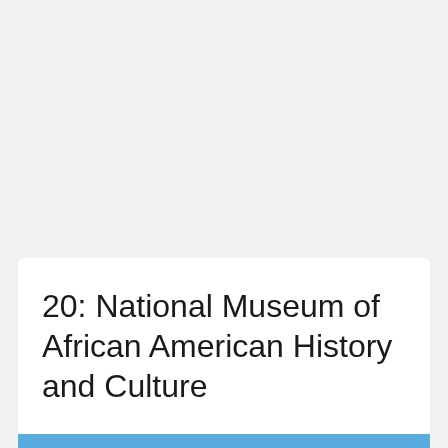20: National Museum of African American History and Culture